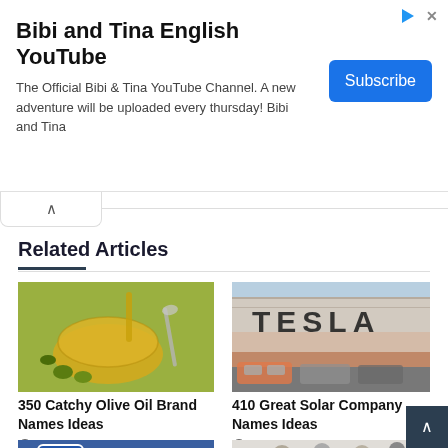[Figure (screenshot): Advertisement banner for Bibi and Tina English YouTube channel with Subscribe button]
Bibi and Tina English YouTube
The Official Bibi & Tina YouTube Channel. A new adventure will be uploaded every thursday! Bibi and Tina
Related Articles
[Figure (photo): Olive oil being poured into a glass bowl with olives nearby]
350 Catchy Olive Oil Brand Names Ideas
May 8, 2022
[Figure (photo): Tesla factory building with cars in parking lot]
410 Great Solar Company Names Ideas
March 30, 2022
[Figure (photo): Hand holding a phone with a pen or stylus on a blue background]
[Figure (photo): Group of people standing together, students or professionals]